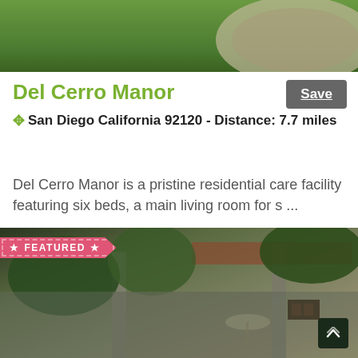[Figure (photo): Aerial/ground photo showing green lawn and curved stone or concrete path from above]
Del Cerro Manor
Save
San Diego California 92120 - Distance: 7.7 miles
Del Cerro Manor is a pristine residential care facility featuring six beds, a main living room for s ...
[Figure (photo): Photo of a residential care facility building exterior with trees, columns, tiled roof, and outdoor seating area with umbrella. Featured badge overlay in top left.]